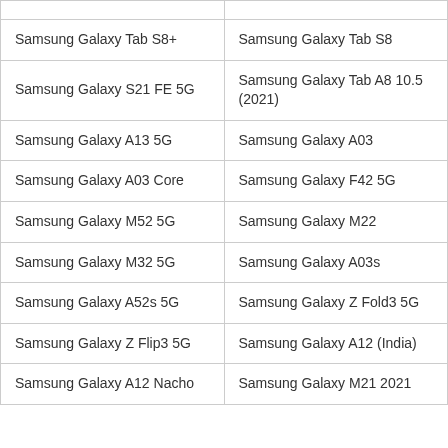| Samsung Galaxy Tab S8+ | Samsung Galaxy Tab S8 |
| Samsung Galaxy S21 FE 5G | Samsung Galaxy Tab A8 10.5 (2021) |
| Samsung Galaxy A13 5G | Samsung Galaxy A03 |
| Samsung Galaxy A03 Core | Samsung Galaxy F42 5G |
| Samsung Galaxy M52 5G | Samsung Galaxy M22 |
| Samsung Galaxy M32 5G | Samsung Galaxy A03s |
| Samsung Galaxy A52s 5G | Samsung Galaxy Z Fold3 5G |
| Samsung Galaxy Z Flip3 5G | Samsung Galaxy A12 (India) |
| Samsung Galaxy A12 Nacho | Samsung Galaxy M21 2021 |